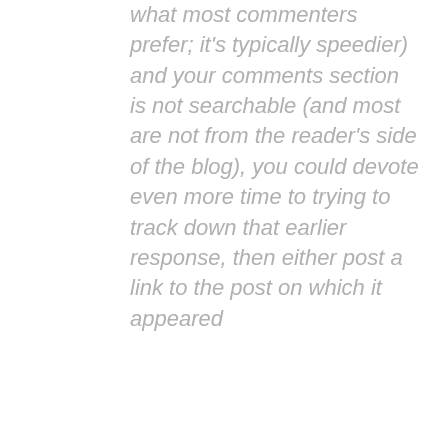what most commenters prefer; it's typically speedier) and your comments section is not searchable (and most are not from the reader's side of the blog), you could devote even more time to trying to track down that earlier response, then either post a link to the post on which it appeared